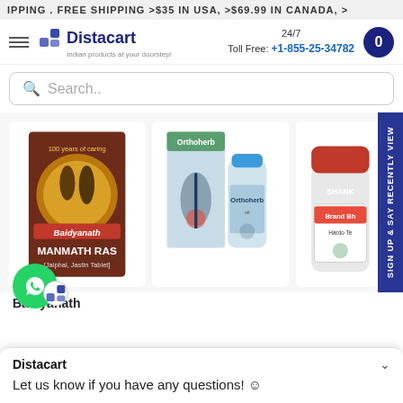IPPING . FREE SHIPPING >$35 IN USA, >$69.99 IN CANADA, >
[Figure (screenshot): Distacart website navigation bar with logo, 24/7 Toll Free number +1-855-25-34782, and cart icon showing 0]
[Figure (screenshot): Search bar with magnifying glass icon and placeholder text 'Search..']
[Figure (screenshot): Product listing row showing three product images: Baidyanath Manmath Ras tablets box, Orthoherb oil bottle with box, and Shank brand Hardo Te product bottle. A 'Sign up & say RECENTLY VIEW' vertical tab is on the right side.]
Baidyanath
[Figure (screenshot): Chat widget overlay showing 'Distacart' title with chevron, and message 'Let us know if you have any questions! ☺'. WhatsApp green icon and small Distacart icon visible at bottom left.]